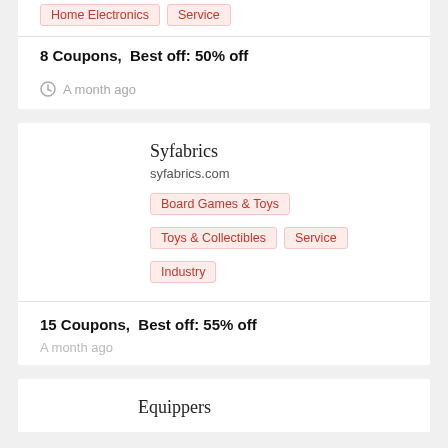Home Electronics   Service
8 Coupons,  Best off: 50% off
A month ago
Syfabrics
syfabrics.com
Board Games & Toys
Toys & Collectibles
Service
Industry
15 Coupons,  Best off: 55% off
A month ago
Equippers